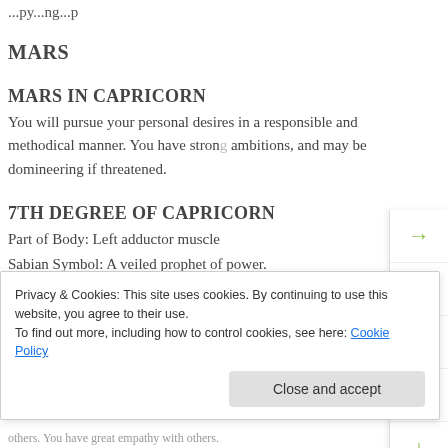...py...ng...p
MARS
MARS IN CAPRICORN
You will pursue your personal desires in a responsible and methodical manner. You have strong ambitions, and may be domineering if threatened.
7TH DEGREE OF CAPRICORN
Part of Body: Left adductor muscle
Sabian Symbol: A veiled prophet of power.
others. You have great empathy with others.
Privacy & Cookies: This site uses cookies. By continuing to use this website, you agree to their use.
To find out more, including how to control cookies, see here: Cookie Policy